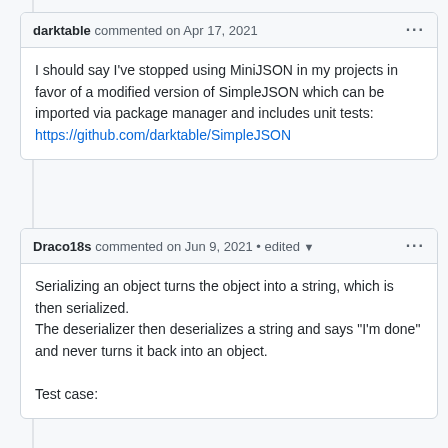darktable commented on Apr 17, 2021
I should say I've stopped using MiniJSON in my projects in favor of a modified version of SimpleJSON which can be imported via package manager and includes unit tests: https://github.com/darktable/SimpleJSON
Draco18s commented on Jun 9, 2021• edited
Serializing an object turns the object into a string, which is then serialized.
The deserializer then deserializes a string and says "I'm done" and never turns it back into an object.

Test case: